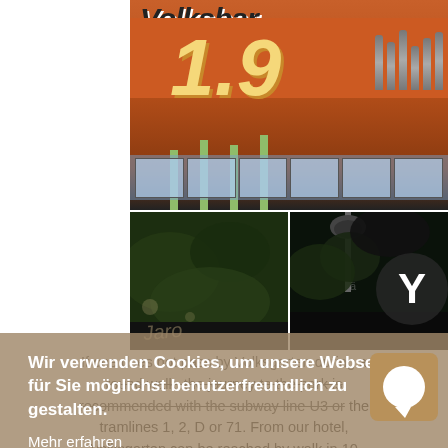[Figure (photo): Top photo: exterior of a restaurant/bar with orange canopy, sign reading 'Volksbar', large '1.9' lettering, green columns, beer taps on the right, window row at bottom. Below are two smaller photos: left shows garden/outdoor seating area, right shows a garden lamp with dark foliage and a 'Y' logo circle.]
If one does not pass by Volksgarten during a round walk, the journey to the park is recommended with the subway line U3 or the tramlines 1, 2, D or 71. From our hotel, Volksgarten can be reached by walk in 10
Wir verwenden Cookies, um unsere Webseite für Sie möglichst benutzerfreundlich zu gestalten.
Mehr erfahren
OK